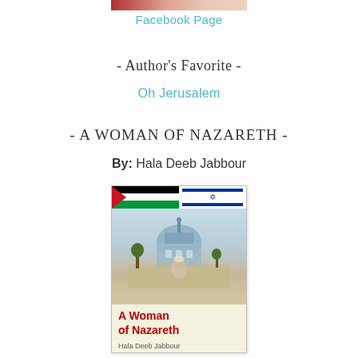[Figure (photo): Partial photo of a person at the top of the page]
Facebook Page
- Author's Favorite -
Oh Jerusalem
- A WOMAN OF NAZARETH -
By: Hala Deeb Jabbour
[Figure (illustration): Book cover for 'A Woman of Nazareth' by Hala Deeb Jabbour, showing flags of Palestine and Israel at the top, an illustration of a dome/mosque and a woman figure, with the title in bold red text and the author name below.]